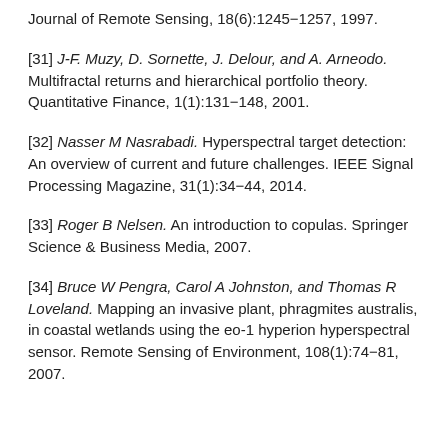Journal of Remote Sensing, 18(6):1245–1257, 1997.
[31] J-F. Muzy, D. Sornette, J. Delour, and A. Arneodo. Multifractal returns and hierarchical portfolio theory. Quantitative Finance, 1(1):131–148, 2001.
[32] Nasser M Nasrabadi. Hyperspectral target detection: An overview of current and future challenges. IEEE Signal Processing Magazine, 31(1):34–44, 2014.
[33] Roger B Nelsen. An introduction to copulas. Springer Science & Business Media, 2007.
[34] Bruce W Pengra, Carol A Johnston, and Thomas R Loveland. Mapping an invasive plant, phragmites australis, in coastal wetlands using the eo-1 hyperion hyperspectral sensor. Remote Sensing of Environment, 108(1):74–81, 2007.